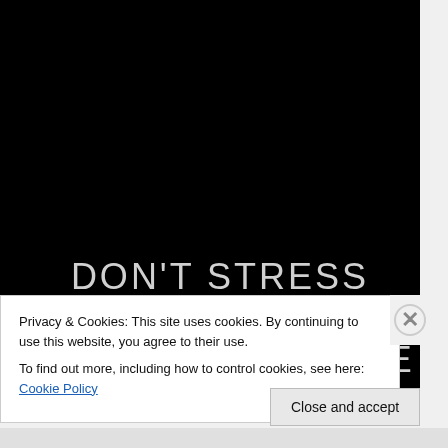[Figure (illustration): Black background with large light gray uppercase text reading: DON'T STRESS THE COULD HAVES. IF IT SHOULD HAVE]
Privacy & Cookies: This site uses cookies. By continuing to use this website, you agree to their use.
To find out more, including how to control cookies, see here: Cookie Policy
Close and accept